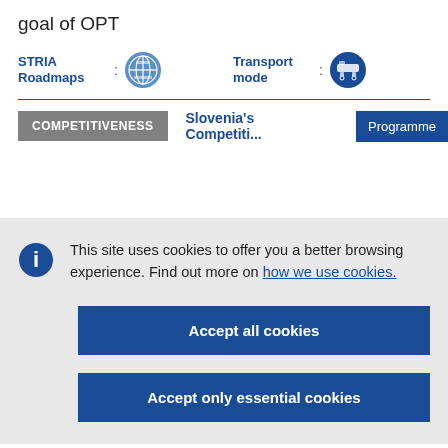goal of OPT
STRIA Roadmaps : [icon] Transport mode : [icon]
COMPETITIVENESS  Slovenia's Competiti...  Programme
This site uses cookies to offer you a better browsing experience. Find out more on how we use cookies.
Accept all cookies
Accept only essential cookies